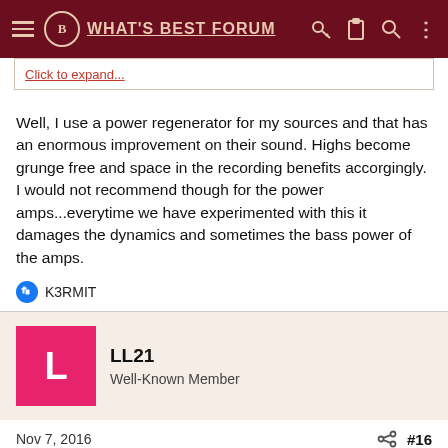WHAT'S BEST FORUM
Click to expand...
Well, I use a power regenerator for my sources and that has an enormous improvement on their sound. Highs become grunge free and space in the recording benefits accorgingly. I would not recommend though for the power amps...everytime we have experimented with this it damages the dynamics and sometimes the bass power of the amps.
K3RMIT
LL21
Well-Known Member
Nov 7, 2016    #16
morricab said: